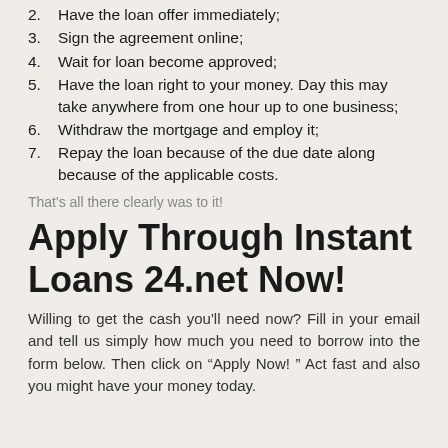2. Have the loan offer immediately;
3. Sign the agreement online;
4. Wait for loan become approved;
5. Have the loan right to your money. Day this may take anywhere from one hour up to one business;
6. Withdraw the mortgage and employ it;
7. Repay the loan because of the due date along because of the applicable costs.
That's all there clearly was to it!
Apply Through Instant Loans 24.net Now!
Willing to get the cash you'll need now? Fill in your email and tell us simply how much you need to borrow into the form below. Then click on “Apply Now! ” Act fast and also you might have your money today.